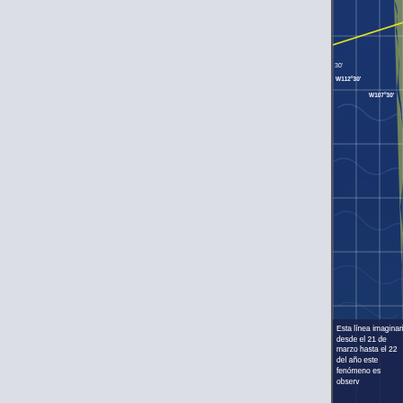[Figure (map): Satellite/bathymetric map showing the Pacific Ocean west of Mexico (Baja California), with white latitude/longitude grid lines, coordinate labels W112°30' and W107°30', and a diagonal yellow line crossing the ocean representing an imaginary line (Tropic of Cancer or similar geographic reference). The ocean floor relief is visible in deep blue tones.]
Esta línea imaginaria marca el li... desde el 21 de marzo hasta el 22... del año este fenómeno es observ...